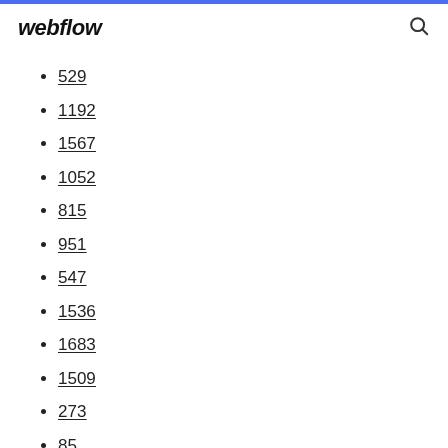webflow
529
1192
1567
1052
815
951
547
1536
1683
1509
273
85